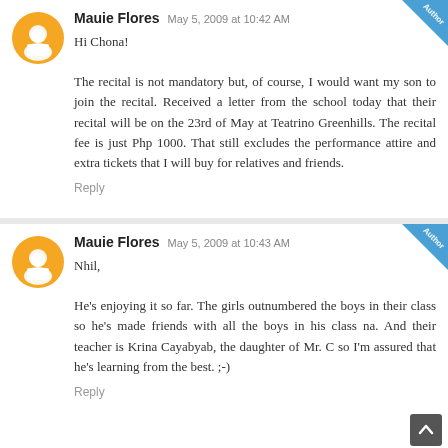Mauie Flores  May 5, 2009 at 10:42 AM
Hi Chona!

The recital is not mandatory but, of course, I would want my son to join the recital. Received a letter from the school today that their recital will be on the 23rd of May at Teatrino Greenhills. The recital fee is just Php 1000. That still excludes the performance attire and extra tickets that I will buy for relatives and friends.
Reply
Mauie Flores  May 5, 2009 at 10:43 AM
Nhil,

He's enjoying it so far. The girls outnumbered the boys in their class so he's made friends with all the boys in his class na. And their teacher is Krina Cayabyab, the daughter of Mr. C so I'm assured that he's learning from the best. ;-)
Reply